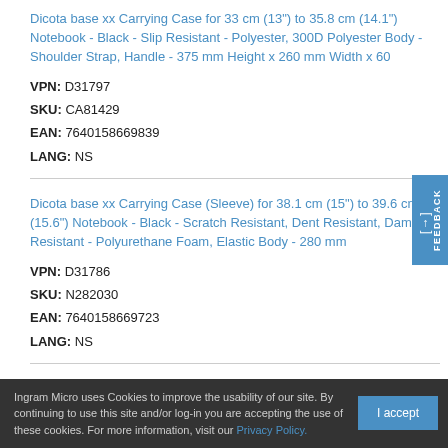Dicota base xx Carrying Case for 33 cm (13") to 35.8 cm (14.1") Notebook - Black - Slip Resistant - Polyester, 300D Polyester Body - Shoulder Strap, Handle - 375 mm Height x 260 mm Width x 60
VPN: D31797
SKU: CA81429
EAN: 7640158669839
LANG: NS
Dicota base xx Carrying Case (Sleeve) for 38.1 cm (15") to 39.6 cm (15.6") Notebook - Black - Scratch Resistant, Dent Resistant, Damage Resistant - Polyurethane Foam, Elastic Body - 280 mm
VPN: D31786
SKU: N282030
EAN: 7640158669723
LANG: NS
Ingram Micro uses Cookies to improve the usability of our site. By continuing to use this site and/or log-in you are accepting the use of these cookies. For more information, visit our Privacy Policy.